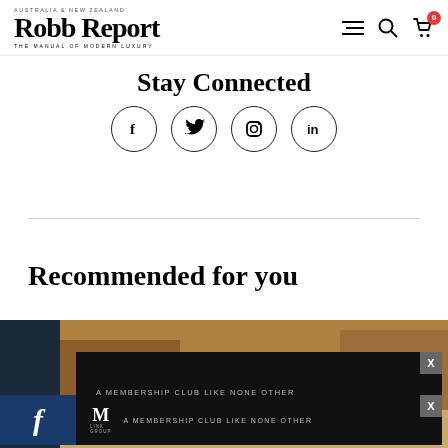Robb Report Australia & New Zealand — THE MANUAL OF MODERN LUXURY
Stay Connected
[Figure (infographic): Four social media icon circles: Facebook (f), Twitter (bird), Instagram (camera), LinkedIn (in)]
Recommended for you
[Figure (photo): Aerial view of luxury desert resort with rocky canyon backdrop and pavilion-style buildings with lush greenery]
[Figure (screenshot): Two dark advertisement overlays reading 'A MEMBERSHIP CLUB LIKE NONE OTHER' with M logo, and X close buttons]